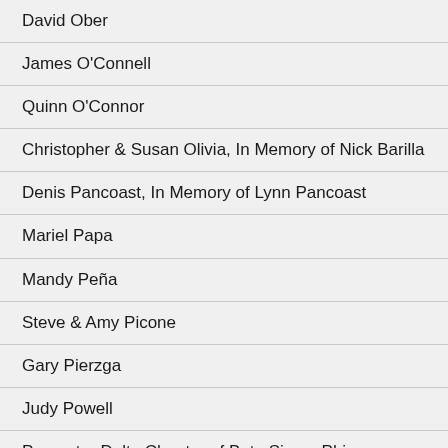David Ober
James O'Connell
Quinn O'Connor
Christopher & Susan Olivia, In Memory of Nick Barilla
Denis Pancoast, In Memory of Lynn Pancoast
Mariel Papa
Mandy Peña
Steve & Amy Picone
Gary Pierzga
Judy Powell
Preceptor Delta Chapter of Beta Sigma Phi Bethlehem Chapter